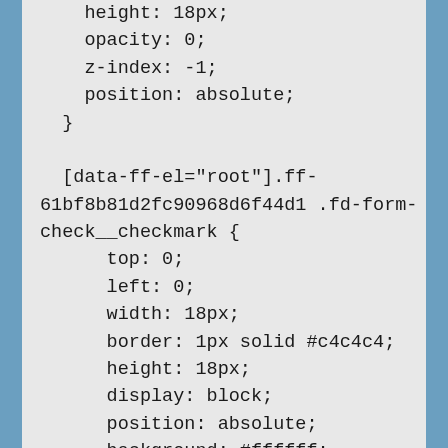height: 18px;
    opacity: 0;
    z-index: -1;
    position: absolute;
  }

  [data-ff-el="root"].ff-61bf8b81d2fc90968d6f44d1 .fd-form-check__checkmark {
      top: 0;
      left: 0;
      width: 18px;
      border: 1px solid #c4c4c4;
      height: 18px;
      display: block;
      position: absolute;
      background: #ffffff;